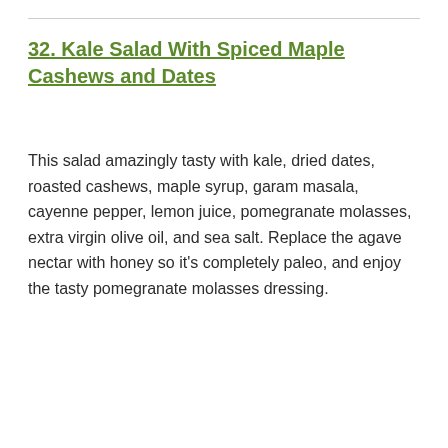32. Kale Salad With Spiced Maple Cashews and Dates
This salad amazingly tasty with kale, dried dates, roasted cashews, maple syrup, garam masala, cayenne pepper, lemon juice, pomegranate molasses, extra virgin olive oil, and sea salt. Replace the agave nectar with honey so it's completely paleo, and enjoy the tasty pomegranate molasses dressing.